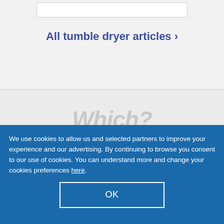All tumble dryer articles >
[Figure (logo): Which? logo in grey italic text]
Follow us
We use cookies to allow us and selected partners to improve your experience and our advertising. By continuing to browse you consent to our use of cookies. You can understand more and change your cookies preferences here.
OK